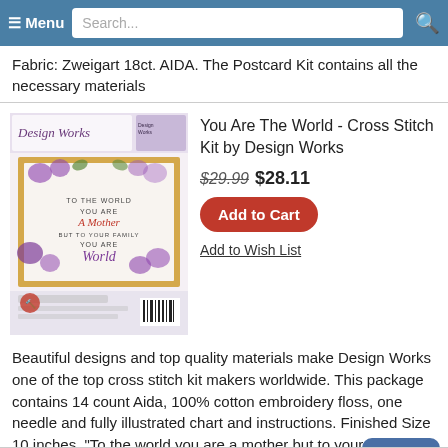≡ Menu  Search...
Fabric: Zweigart 18ct. AIDA. The Postcard Kit contains all the necessary materials
[Figure (photo): Product image of You Are The World Cross Stitch Kit by Design Works, showing a floral border design with text 'To the world you are a Mother but to your family you are the World']
You Are The World - Cross Stitch Kit by Design Works
$29.99 $28.11
Add to Cart
Add to Wish List
Beautiful designs and top quality materials make Design Works one of the top cross stitch kit makers worldwide. This package contains 14 count Aida, 100% cotton embroidery floss, one needle and fully illustrated chart and instructions. Finished Size 10 inches. "To the world you are a mother but to your family, you are the world"